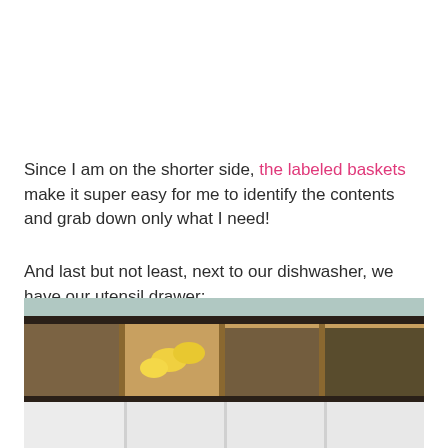Since I am on the shorter side, the labeled baskets make it super easy for me to identify the contents and grab down only what I need!
And last but not least, next to our dishwasher, we have our utensil drawer:
[Figure (photo): A wooden utensil drawer organizer with compartments containing yellow items (likely corn cob holders), dark utensils/spoons, and forks arranged neatly. Below it is a white plastic drawer organizer with compartments.]